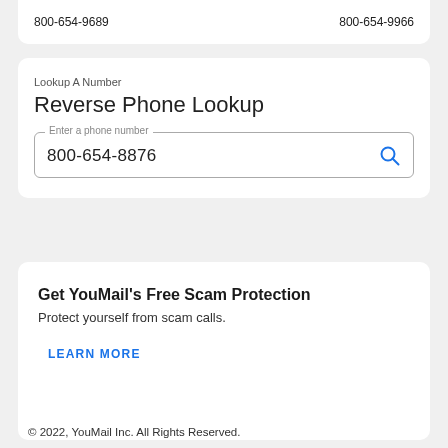800-654-9689    800-654-9966
Lookup A Number
Reverse Phone Lookup
800-654-8876
Get YouMail's Free Scam Protection
Protect yourself from scam calls.
LEARN MORE
© 2022, YouMail Inc. All Rights Reserved.